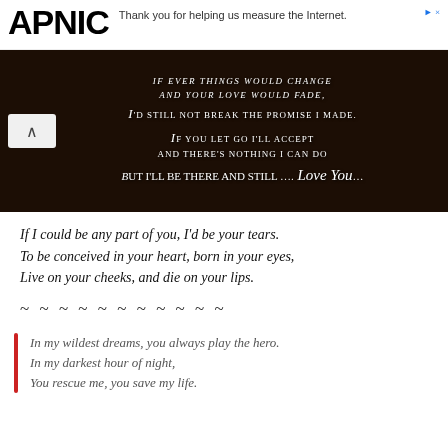APNIC — Thank you for helping us measure the Internet.
[Figure (photo): Dark romantic quote image with white text on near-black background. Text reads: 'If ever things would change and your love would fade, I'd still not break the promise I made. If you let go I'll accept and there's nothing I can do But I'll be there and still .... Love You...']
If I could be any part of you, I'd be your tears. To be conceived in your heart, born in your eyes, Live on your cheeks, and die on your lips.
~ ~ ~ ~ ~ ~ ~ ~ ~ ~ ~
In my wildest dreams, you always play the hero. In my darkest hour of night, You rescue me, you save my life.